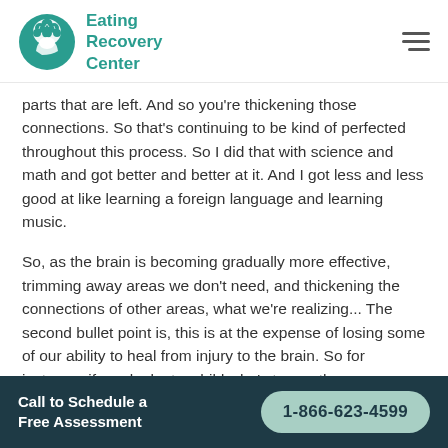Eating Recovery Center
parts that are left. And so you're thickening those connections. So that's continuing to be kind of perfected throughout this process. So I did that with science and math and got better and better at it. And I got less and less good at like learning a foreign language and learning music.
So, as the brain is becoming gradually more effective, trimming away areas we don't need, and thickening the connections of other areas, what we're realizing... The second bullet point is, this is at the expense of losing some of our ability to heal from injury to the brain. So for instance, if you look at a child who's two or three
Call to Schedule a Free Assessment  1-866-623-4599